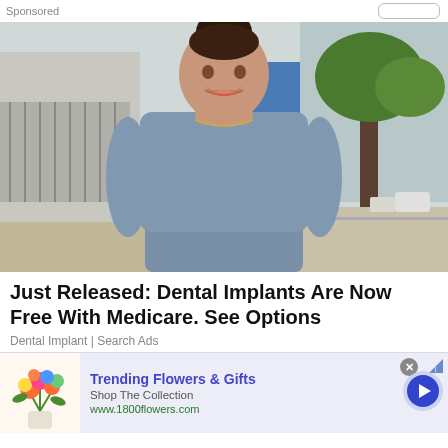Sponsored
[Figure (photo): Woman in grey scrubs top smiling outdoors in front of a building with fencing and a tree on a sidewalk]
Just Released: Dental Implants Are Now Free With Medicare. See Options
Dental Implant | Search Ads
[Figure (infographic): Banner advertisement: Trending Flowers & Gifts - Shop The Collection - www.1800flowers.com with flower bouquet image and navigation arrow button]